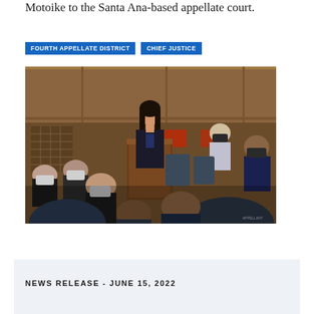Motoike to the Santa Ana-based appellate court.
FOURTH APPELLATE DISTRICT
CHIEF JUSTICE
[Figure (photo): A woman in a dark business suit stands at a wooden lectern in a formal courtroom. Several people are seated around her, some wearing masks. The setting appears to be an official court proceeding.]
NEWS RELEASE - JUNE 15, 2022